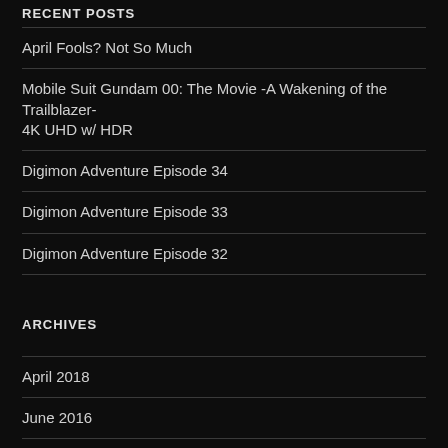RECENT POSTS
April Fools? Not So Much
Mobile Suit Gundam 00: The Movie -A Wakening of the Trailblazer- 4K UHD w/ HDR
Digimon Adventure Episode 34
Digimon Adventure Episode 33
Digimon Adventure Episode 32
ARCHIVES
April 2018
June 2016
May 2016